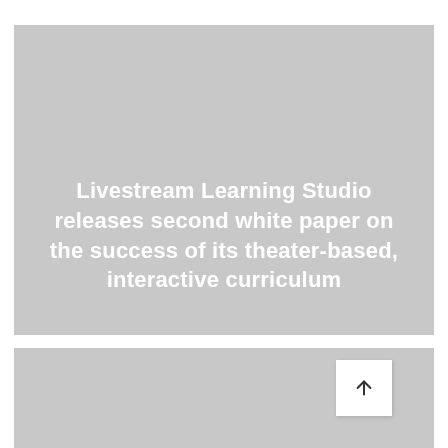[Figure (illustration): Large gray rectangular image block with white bold title text overlaid at the bottom center: 'Livestream Learning Studio releases second white paper on the success of its theater-based, interactive curriculum']
Livestream Learning Studio releases second white paper on the success of its theater-based, interactive curriculum
[Figure (illustration): Gray rectangular image block at the bottom of the page, partially visible, with a white square button containing an upward arrow in the upper-right area.]